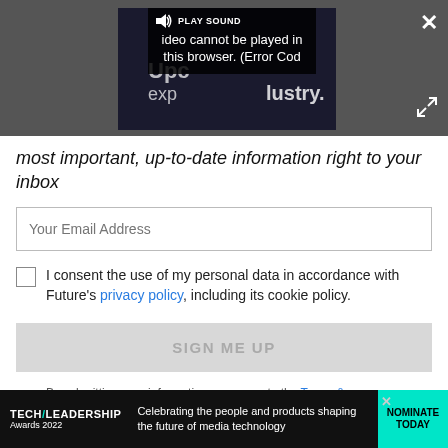[Figure (screenshot): Video player overlay showing a dark background with a video error message: 'Video cannot be played in this browser. (Error Cod' with a PLAY SOUND button, close button (×), and expand button.]
most important, up-to-date information right to your inbox
Your Email Address
I consent the use of my personal data in accordance with Future's privacy policy, including its cookie policy.
SIGN ME UP
By submitting your information you agree to the Terms & Conditions and Privacy Policy and are aged 16 or over.
[Figure (screenshot): Ad banner for Tech Leadership Awards 2022. Logo on left, text: 'Celebrating the people and products shaping the future of media technology', CTA button: 'NOMINATE TODAY' in cyan/teal.]